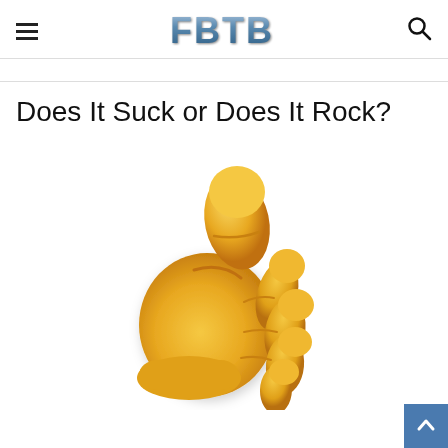FBTB
Does It Suck or Does It Rock?
[Figure (illustration): Large thumbs up emoji in yellow/orange color, Apple iOS style, centered on the page.]